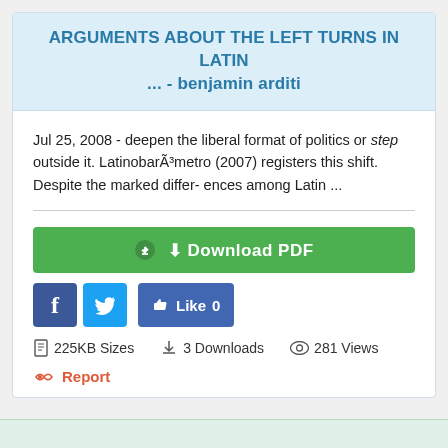ARGUMENTS ABOUT THE LEFT TURNS IN LATIN ... - benjamin arditi
Jul 25, 2008 - deepen the liberal format of politics or step outside it. LatinobarÃ³metro (2007) registers this shift. Despite the marked differ- ences among Latin ...
[Figure (screenshot): Download PDF button (green), Facebook share button, Twitter share button, Like button with count 0]
225KB Sizes   3 Downloads   281 Views
Report